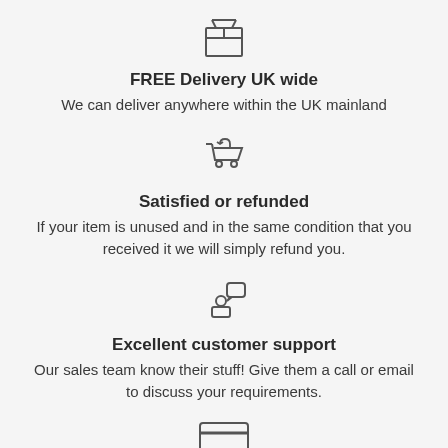[Figure (illustration): Box/package outline icon]
FREE Delivery UK wide
We can deliver anywhere within the UK mainland
[Figure (illustration): Shopping cart with return arrow icon]
Satisfied or refunded
If your item is unused and in the same condition that you received it we will simply refund you.
[Figure (illustration): Person with speech bubble / customer support icon]
Excellent customer support
Our sales team know their stuff! Give them a call or email to discuss your requirements.
[Figure (illustration): Credit card / payment icon (partially visible at bottom)]